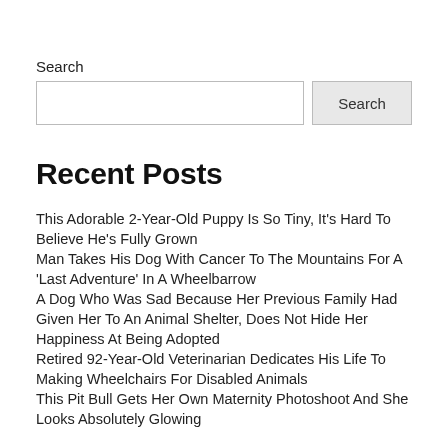Search
Recent Posts
This Adorable 2-Year-Old Puppy Is So Tiny, It’s Hard To Believe He’s Fully Grown
Man Takes His Dog With Cancer To The Mountains For A ‘Last Adventure’ In A Wheelbarrow
A Dog Who Was Sad Because Her Previous Family Had Given Her To An Animal Shelter, Does Not Hide Her Happiness At Being Adopted
Retired 92-Year-Old Veterinarian Dedicates His Life To Making Wheelchairs For Disabled Animals
This Pit Bull Gets Her Own Maternity Photoshoot And She Looks Absolutely Glowing